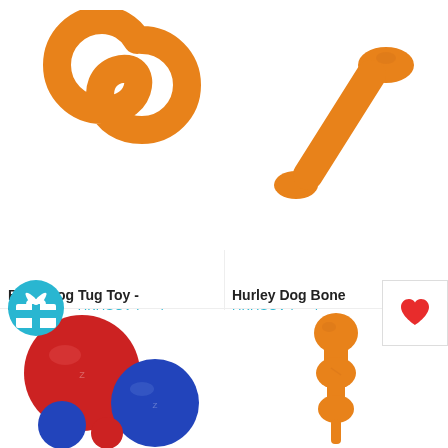[Figure (photo): Orange S-shaped rubber dog tug toy (Bumi) on white background, top-left product]
[Figure (photo): Orange rubber dog bone toy (Hurley) on white background, top-right product]
Bumi Dog Tug Toy - Tangerine UKUSCAdoggie from $15.95
Hurley Dog Bone UKUSCAdoggie from $9.95
[Figure (photo): Red and blue rubber balls set of various sizes (dog toy), bottom-left product]
[Figure (photo): Orange rubber multi-knobbed stick dog toy, bottom-right product]